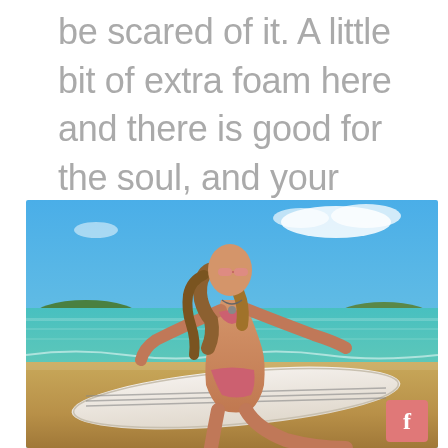be scared of it. A little bit of extra foam here and there is good for the soul, and your surfing
[Figure (photo): Woman in pink bikini sitting on white surfboard on a beach with turquoise water and blue sky in the background. A pink social media button is visible in the bottom right corner.]